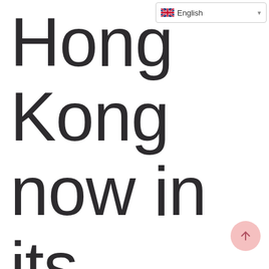English
Hong Kong now in its carbon